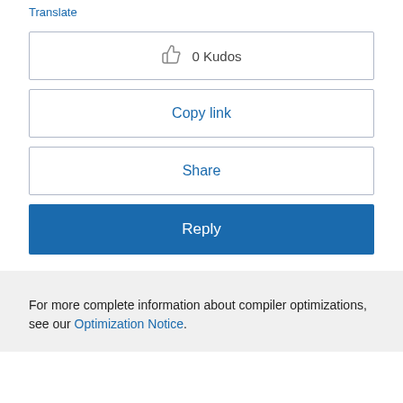Translate
[Figure (screenshot): Button showing thumbs up icon with '0 Kudos' text, inside a bordered rectangle]
Copy link
Share
Reply
For more complete information about compiler optimizations, see our Optimization Notice.